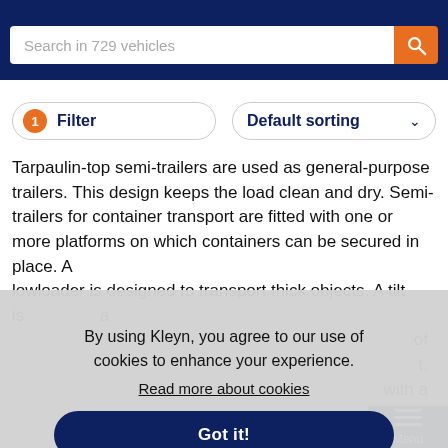Search in 729 vehicles
1 Filter | Default sorting
Tarpaulin-top semi-trailers are used as general-purpose trailers. This design keeps the load clean and dry. Semi-trailers for container transport are fitted with one or more platforms on which containers can be secured in place. A lowloader is used to transport thick objects. A tilt is a of t, with a wed by an a
By using Kleyn, you agree to our use of cookies to enhance your experience.
Read more about cookies
Got it!
Stock  Contact  Menu